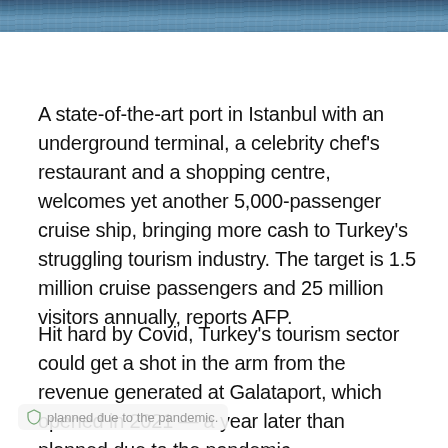[Figure (photo): Cropped top strip of a photograph showing water or ocean scene with dark tones, partial view of a cruise port or sea.]
A state-of-the-art port in Istanbul with an underground terminal, a celebrity chef's restaurant and a shopping centre, welcomes yet another 5,000-passenger cruise ship, bringing more cash to Turkey's struggling tourism industry. The target is 1.5 million cruise passengers and 25 million visitors annually, reports AFP.
Hit hard by Covid, Turkey's tourism sector could get a shot in the arm from the revenue generated at Galataport, which opened in 2021 — a year later than planned due to the pandemic.